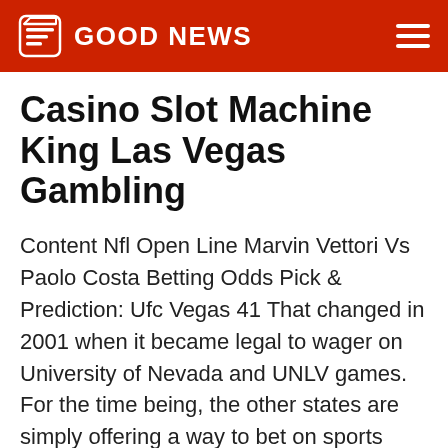GOOD NEWS
Casino Slot Machine King Las Vegas Gambling
Content Nfl Open Line Marvin Vettori Vs Paolo Costa Betting Odds Pick & Prediction: Ufc Vegas 41 That changed in 2001 when it became legal to wager on University of Nevada and UNLV games. For the time being, the other states are simply offering a way to bet on sports legally. However, this is